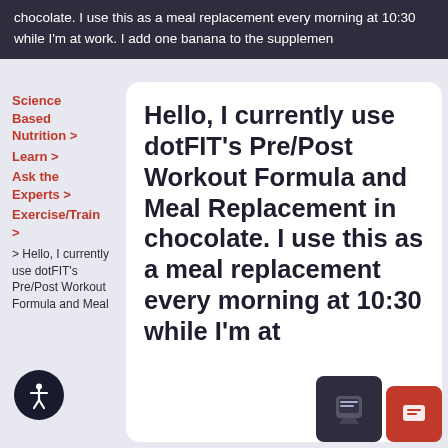chocolate. I use this as a meal replacement every morning at 10:30 while I'm at work. I add one banana to the supplemen
Science Based Nutrition >
Learn >
Ask the Experts >
Exercise/Train >
> Hello, I currently use dotFIT's Pre/Post Workout Formula and Meal
Hello, I currently use dotFIT's Pre/Post Workout Formula and Meal Replacement in chocolate. I use this as a meal replacement every morning at 10:30 while I'm at